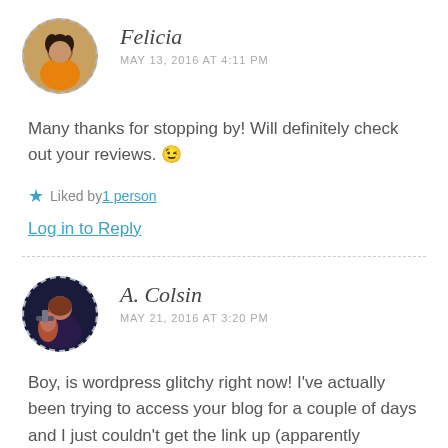[Figure (photo): Circular avatar photo of Felicia with dashed border, showing a person in orange clothing]
Felicia
MAY 13, 2016 AT 4:11 PM
Many thanks for stopping by! Will definitely check out your reviews. 😉
★ Liked by 1 person
Log in to Reply
[Figure (photo): Circular avatar photo of A. Colsin with dashed border, showing two people in dark sci-fi style clothing]
A. Colsin
MAY 21, 2016 AT 3:20 PM
Boy, is wordpress glitchy right now! I've actually been trying to access your blog for a couple of days and I just couldn't get the link up (apparently wordpress doesn't